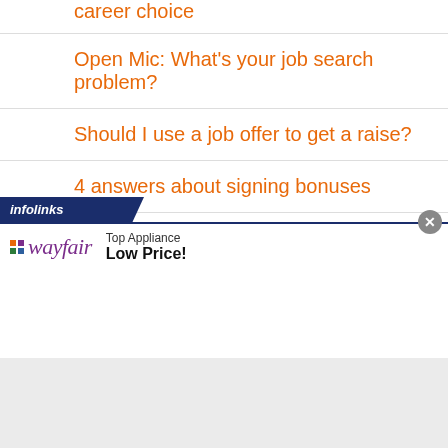career choice
Open Mic: What's your job search problem?
Should I use a job offer to get a raise?
4 answers about signing bonuses
Do this before accepting a job offer!
[Figure (screenshot): Infolinks advertisement banner with wayfair ad showing 'Top Appliance Low Price!']
Top Appliance Low Price!